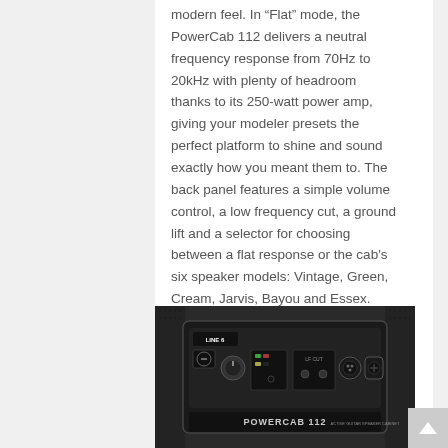modern feel. In “Flat” mode, the PowerCab 112 delivers a neutral frequency response from 70Hz to 20kHz with plenty of headroom thanks to its 250-watt power amp, giving your modeler presets the perfect platform to shine and sound exactly how you meant them to. The back panel features a simple volume control, a low frequency cut, a ground lift and a selector for choosing between a flat response or the cab's six speaker models: Vintage, Green, Cream, Jarvis, Bayou and Essex.
[Figure (photo): Photo of the back panel of a Line 6 PowerCab 112 active guitar speaker cabinet, showing the control panel with knobs, switches, XLR and Speakon connectors, and the POWERCAB 112 label.]